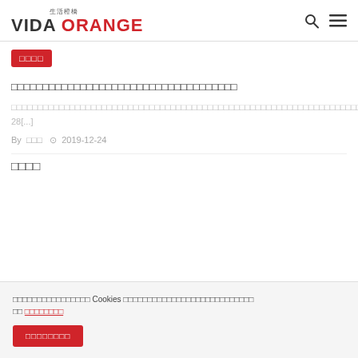生活橙橋 VIDA ORANGE
□□□□
□□□□□□□□□□□□□□□□□□□□□□□□□□□□
□□□□□□□□□□□□□□□□□□□□□□□□□□□□□□□□□□□□□□□□□□□□□□□□□□□□□□□□□ 28[...]
By □□□  ⊙ 2019-12-24
□□□□
□□□□□□□□□□□□□□□□ Cookies □□□□□□□□□□□□□□□□□□□□□□□□□□□ □□ □□□□□□□□
□□□□□□□□